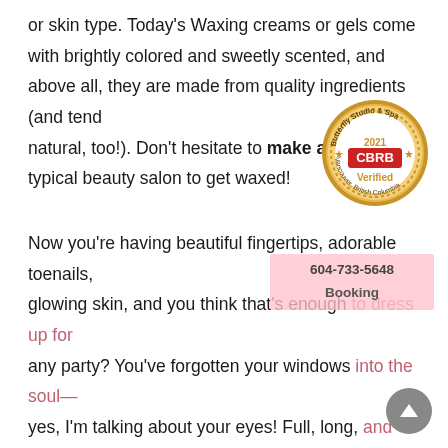or skin type. Today's Waxing creams or gels come with brightly colored and sweetly scented, and above all, they are made from quality ingredients (and tend natural, too!). Don't hesitate to make an app typical beauty salon to get waxed!
[Figure (logo): Butterfly Studio & Spa CBRB 2021 Verified gold circular badge/seal, Vancouver, British Columbia]
Now you're having beautiful fingertips, adorable toenails, glowing skin, and you think that's enough to dress up for any party? You've forgotten your windows into the soul—yes, I'm talking about your eyes! Full, long, and wispy lashes are the key to standout and attractive eyes. No makeup is complete without gorgeous eyelashes. Ask yourself some questions: Do you fancy your eyes to wake
[Figure (infographic): Pink booking widget overlay showing phone number 604-733-5648 and Booking label]